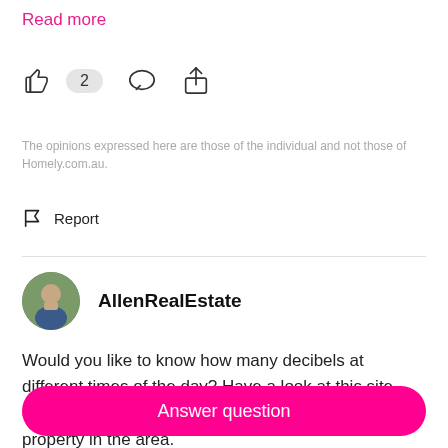Read more
[Figure (infographic): Like button with count badge showing 2, comment bubble icon, and share/upload icon]
The opinions expressed here are those of the individual and not those of Homely.com.au.
Report
AllenRealEstate
Would you like to know how many decibels at different times of the day? Have a look at this site, one of our due diligence checks before buying a property in the area.
Answer question